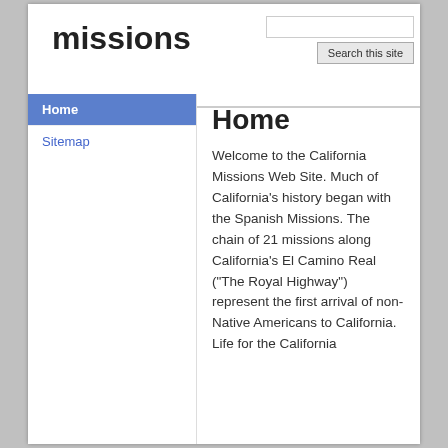missions
Home
Sitemap
Home
Welcome to the California Missions Web Site. Much of California's history began with the Spanish Missions. The chain of 21 missions along California's El Camino Real ("The Royal Highway") represent the first arrival of non-Native Americans to California. Life for the California